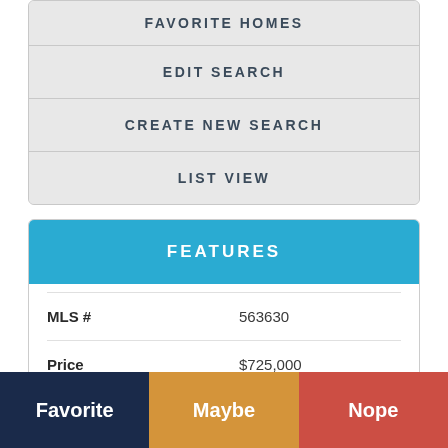FAVORITE HOMES
EDIT SEARCH
CREATE NEW SEARCH
LIST VIEW
FEATURES
| Field | Value |
| --- | --- |
| MLS # | 563630 |
| Price | $725,000 |
| Old Price | $749,900 |
| Bedrooms | 6 |
Favorite
Maybe
Nope